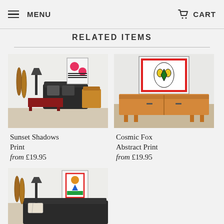MENU   CART
RELATED ITEMS
[Figure (photo): Room scene with mid-century modern furniture, black leather sofa, red coffee table, wooden chair, and colorful abstract print on wall]
Sunset Shadows Print
from £19.95
[Figure (photo): Minimalist room with wooden sideboard and colorful abstract fox print on wall]
Cosmic Fox Abstract Print
from £19.95
[Figure (photo): Partial view of room scene with mid-century modern furniture and colorful abstract art print on wall (partially cut off)]